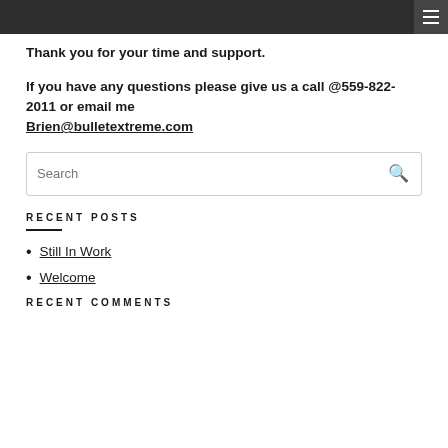Thank you for your time and support.
If you have any questions please give us a call @559-822-2011 or email me Brien@bulletextreme.com
Search
RECENT POSTS
Still In Work
Welcome
RECENT COMMENTS